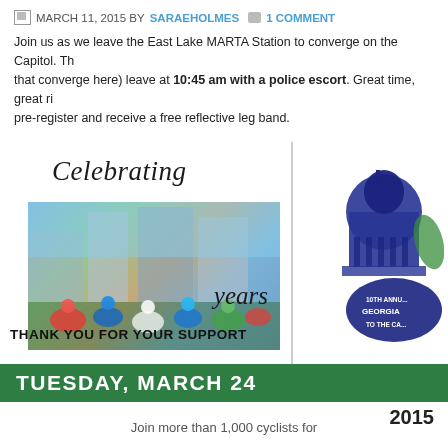MARCH 11, 2015 BY SARAEHOLMES 1 COMMENT
Join us as we leave the East Lake MARTA Station to converge on the Capitol. Th... that converge here) leave at 10:45 am with a police escort. Great time, great ri... pre-register and receive a free reflective leg band.
[Figure (infographic): 10th annual Georgia to the Capitol cycling event infographic. Left panel shows 'Celebrating 10 years' with cyclists photo forming the '10', bold text 'THANK YOU FOR YOUR SUPPORT'. Right panel shows Georgia Capitol dome illustration with '10th Annual Georgia to the Ca...' badge. Green banner at bottom reads 'TUESDAY, MARCH 24'. Right side shows '2015'.]
Join more than 1,000 cyclists for